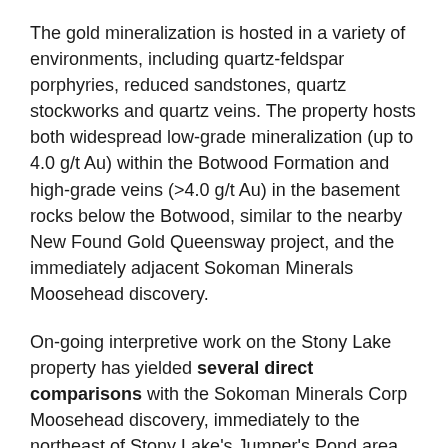The gold mineralization is hosted in a variety of environments, including quartz-feldspar porphyries, reduced sandstones, quartz stockworks and quartz veins. The property hosts both widespread low-grade mineralization (up to 4.0 g/t Au) within the Botwood Formation and high-grade veins (>4.0 g/t Au) in the basement rocks below the Botwood, similar to the nearby New Found Gold Queensway project, and the immediately adjacent Sokoman Minerals Moosehead discovery.
On-going interpretive work on the Stony Lake property has yielded several direct comparisons with the Sokoman Minerals Corp Moosehead discovery, immediately to the northeast of Stony Lake's Jumper's Pond area (note - this area was previously named "Flyers Grid," and since significant portions of the historic Flyers Grid lie off K9's property,